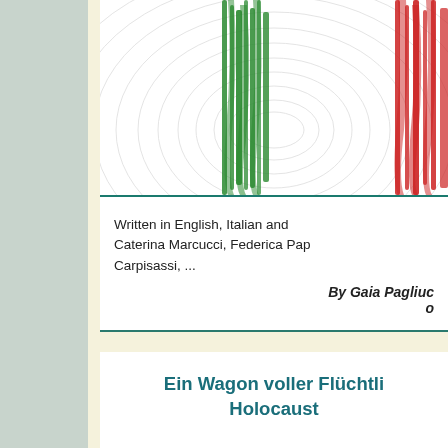[Figure (illustration): Italian flag rendered as fingerprint patterns — green stripe on the left side and red stripe on the right side, with fingerprint swirl lines visible throughout on white background.]
Written in English, Italian and ... Caterina Marcucci, Federica Pa... Carpisassi, ...
By Gaia Pagliuc... o...
Ein Wagon voller Flüchtli... Holocaust